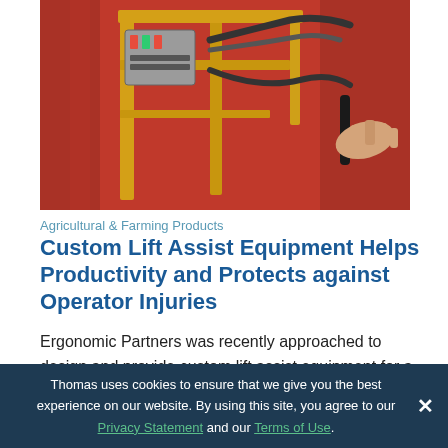[Figure (photo): Photo of custom lift assist equipment — a yellow metal frame apparatus with hoses, wires, and mechanical components, shown against a red background. A person's hand grips a handle on the right side.]
Agricultural & Farming Products
Custom Lift Assist Equipment Helps Productivity and Protects against Operator Injuries
Ergonomic Partners was recently approached to design and provide custom lift assist equipment for a global safety equipment manufacturer. After several near misses on major injuries due to dropped and mishandled parts the customer was looking for a new way to handle their parts. In addition the operators were risking shoulder and back
Thomas uses cookies to ensure that we give you the best experience on our website. By using this site, you agree to our Privacy Statement and our Terms of Use.